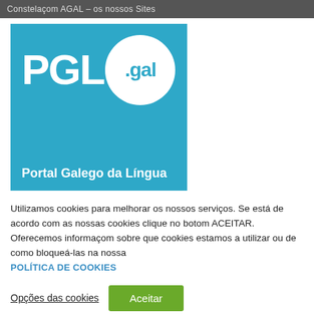Constelaçom AGAL – os nossos Sites
[Figure (logo): PGL.gal logo — blue rectangle with white bold text 'PGL' and a white circle containing '.gal' in blue, with subtitle 'Portal Galego da Língua']
Utilizamos cookies para melhorar os nossos serviços. Se está de acorde com as nossas cookies clique no botom ACEITAR. Oferecemos informaçom sobre que cookies estamos a utilizar ou de como bloqueá-las na nossa POLÍTICA DE COOKIES
Opções das cookies
Aceitar